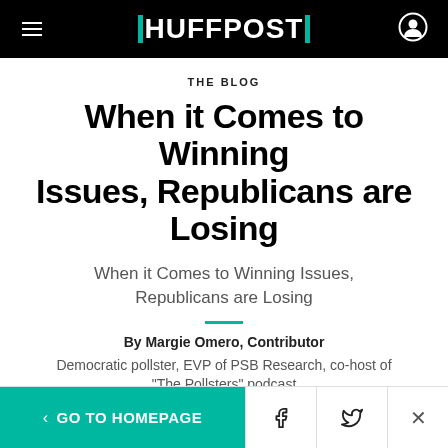HUFFPOST
THE BLOG
When it Comes to Winning Issues, Republicans are Losing
When it Comes to Winning Issues, Republicans are Losing
By Margie Omero, Contributor
Democratic pollster, EVP of PSB Research, co-host of "The Pollsters" podcast
May 3, 2011, 04:56 PM EST | Updated May 25, 2011
< GO TO HOMEPAGE